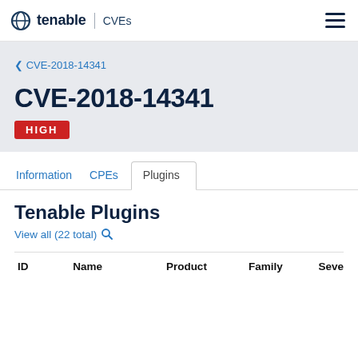tenable | CVEs
< CVE-2018-14341
CVE-2018-14341
HIGH
Information  CPEs  Plugins
Tenable Plugins
View all (22 total)
| ID | Name | Product | Family | Seve |
| --- | --- | --- | --- | --- |